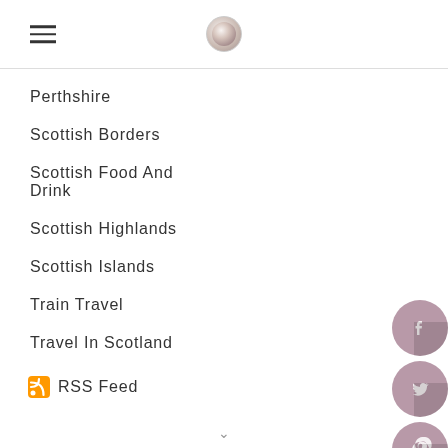[hamburger menu icon] [logo/pearl icon]
Perthshire
Scottish Borders
Scottish Food And Drink
Scottish Highlands
Scottish Islands
Train Travel
Travel In Scotland
RSS Feed
[Figure (infographic): Vertical stack of circular social media icons (Facebook, Twitter, Pinterest, Instagram, Email/Envelope, StumbleUpon) in mauve/dusty purple color with white icons, positioned on the right side of the page]